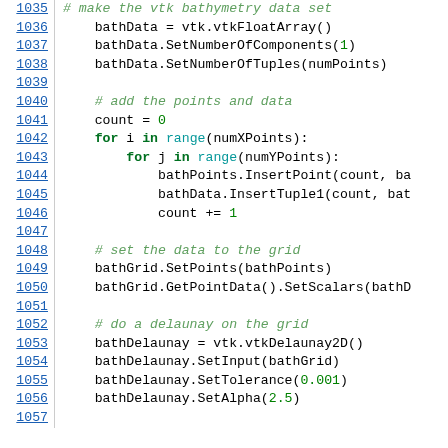Source code listing lines 1035-1057, Python code for VTK bathymetry data processing